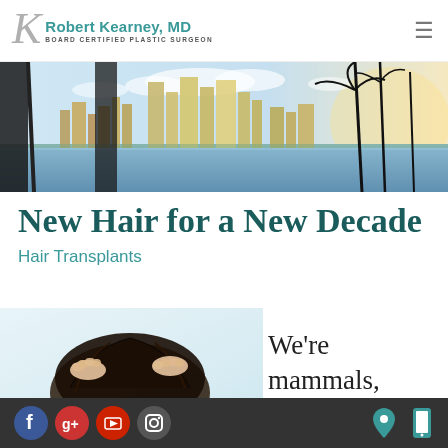Robert Kearney, MD — Board Certified Plastic Surgeon
[Figure (photo): San Diego city skyline with waterfront, palm trees silhouetted, blue sky with clouds — hero banner image]
New Hair for a New Decade
Hair Transplants
[Figure (photo): Close-up of person running hands through dark hair]
We're mammals,
Social media icons: Facebook, Google+, YouTube, Instagram | Location icon | Phone icon